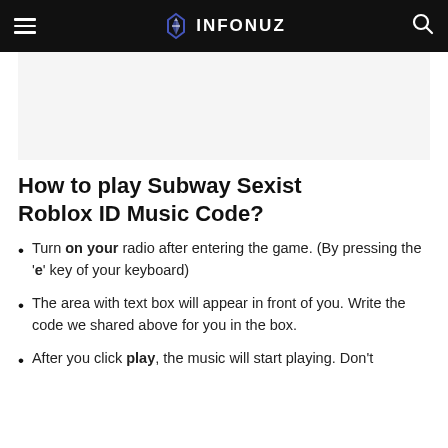INFONUZ
How to play Subway Sexist Roblox ID Music Code?
Turn on your radio after entering the game. (By pressing the 'e' key of your keyboard)
The area with text box will appear in front of you. Write the code we shared above for you in the box.
After you click play, the music will start playing. Don't